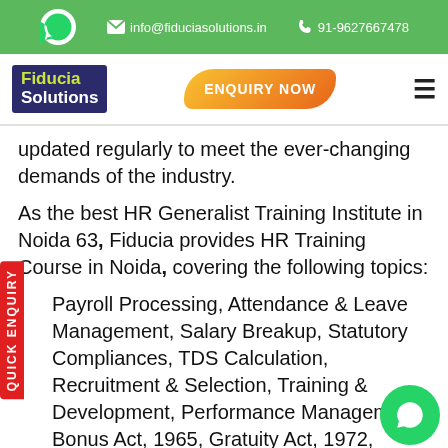info@fiduciasolutions.in  91-9627667478
[Figure (logo): Fiducia Solutions logo with navy background, green 'Fiducia' text and white 'Solutions' text]
[Figure (other): ENQUIRY NOW orange gradient button]
updated regularly to meet the ever-changing demands of the industry.
As the best HR Generalist Training Institute in Noida 63, Fiducia provides HR Training Course in Noida, covering the following topics:
Payroll Processing, Attendance & Leave Management, Salary Breakup, Statutory Compliances, TDS Calculation, Recruitment Selection, Training & Development, Performance Management, Bonus Act, 1965, Gratuity Act, 1972,